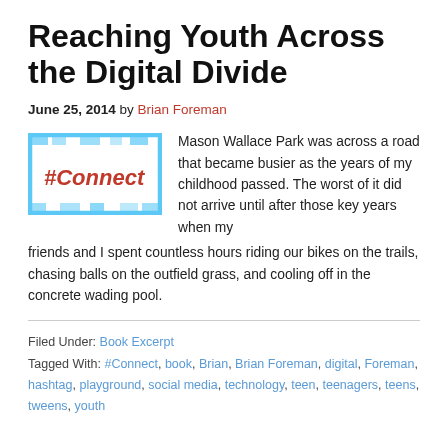Reaching Youth Across the Digital Divide
June 25, 2014 by Brian Foreman
[Figure (logo): #Connect logo — red hashtag and text '#Connect' on white background with blue pixel/block decorative border elements]
Mason Wallace Park was across a road that became busier as the years of my childhood passed. The worst of it did not arrive until after those key years when my friends and I spent countless hours riding our bikes on the trails, chasing balls on the outfield grass, and cooling off in the concrete wading pool.
Filed Under: Book Excerpt
Tagged With: #Connect, book, Brian, Brian Foreman, digital, Foreman, hashtag, playground, social media, technology, teen, teenagers, teens, tweens, youth